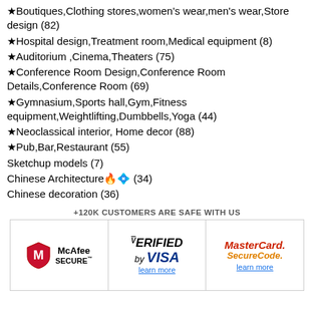★Boutiques,Clothing stores,women's wear,men's wear,Store design (82)
★Hospital design,Treatment room,Medical equipment (8)
★Auditorium ,Cinema,Theaters (75)
★Conference Room Design,Conference Room Details,Conference Room (69)
★Gymnasium,Sports hall,Gym,Fitness equipment,Weightlifting,Dumbbells,Yoga (44)
★Neoclassical interior, Home decor (88)
★Pub,Bar,Restaurant (55)
Sketchup models (7)
Chinese Architecture🔥💎 (34)
Chinese decoration (36)
+120K CUSTOMERS ARE SAFE WITH US
[Figure (other): Trust badges table showing McAfee Secure, Verified by Visa, and MasterCard SecureCode logos with learn more links]